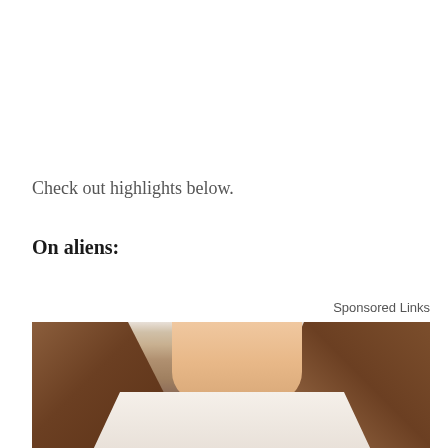Check out highlights below.
On aliens:
Sponsored Links
[Figure (photo): A woman with long brown hair wearing a white t-shirt, seated on a dark brown sofa, photographed from the shoulders up. Only the neck and lower face are visible, with hair flowing on both sides.]